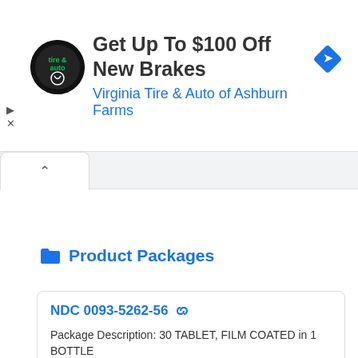[Figure (screenshot): Advertisement banner for Virginia Tire & Auto of Ashburn Farms promoting up to $100 off new brakes, with circular logo and blue directional sign icon]
Product Packages
NDC 0093-5262-56
Package Description: 30 TABLET, FILM COATED in 1 BOTTLE